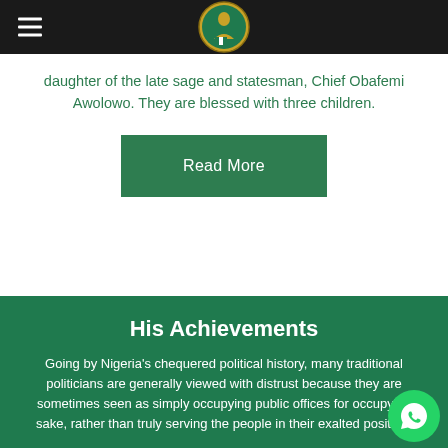Conrado Support Movement header with logo
daughter of the late sage and statesman, Chief Obafemi Awolowo. They are blessed with three children.
Read More
His Achievements
Going by Nigeria's chequered political history, many traditional politicians are generally viewed with distrust because they are sometimes seen as simply occupying public offices for occupying sake, rather than truly serving the people in their exalted position.